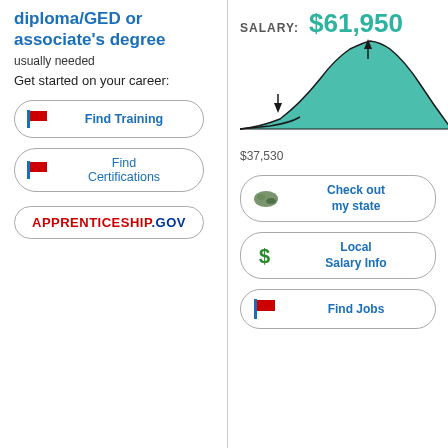diploma/GED or associate's degree usually needed
Get started on your career:
[Figure (infographic): Button: Find Training with flag icon]
[Figure (infographic): Button: Find Certifications with flag icon]
[Figure (infographic): Button: APPRENTICESHIP.GOV]
SALARY: $61,950
[Figure (continuous-plot): Bell curve salary distribution chart showing range from $37,530 to above $61,950]
$37,530
[Figure (infographic): Button: Check out my state with US map icon]
[Figure (infographic): Button: Local Salary Info with dollar sign icon]
[Figure (infographic): Button: Find Jobs with flag icon]